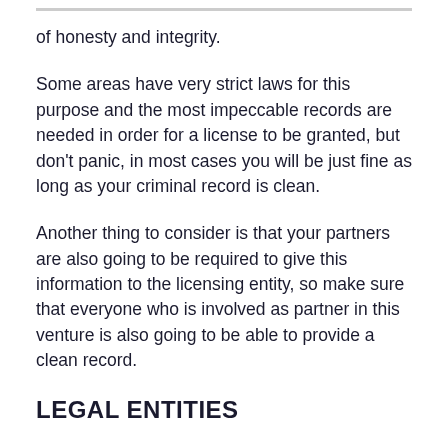of honesty and integrity.
Some areas have very strict laws for this purpose and the most impeccable records are needed in order for a license to be granted, but don't panic, in most cases you will be just fine as long as your criminal record is clean.
Another thing to consider is that your partners are also going to be required to give this information to the licensing entity, so make sure that everyone who is involved as partner in this venture is also going to be able to provide a clean record.
LEGAL ENTITIES
You will require the services of a local registered company that takes care of all law-related aspects